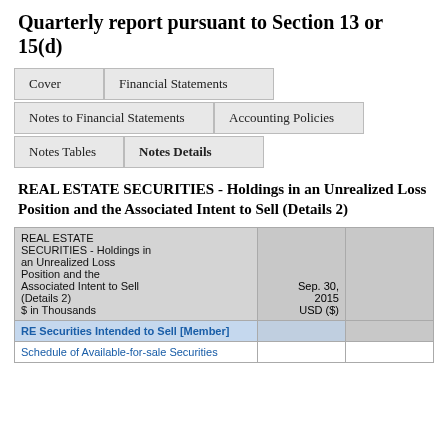Quarterly report pursuant to Section 13 or 15(d)
|  |  |
| --- | --- |
| Cover | Financial Statements |
| Notes to Financial Statements | Accounting Policies |
| Notes Tables | Notes Details |
REAL ESTATE SECURITIES - Holdings in an Unrealized Loss Position and the Associated Intent to Sell (Details 2)
| REAL ESTATE SECURITIES - Holdings in an Unrealized Loss Position and the Associated Intent to Sell (Details 2)
$ in Thousands | Sep. 30, 2015
USD ($) |  |
| --- | --- | --- |
| RE Securities Intended to Sell [Member] |  |  |
| Schedule of Available-for-sale Securities |  |  |